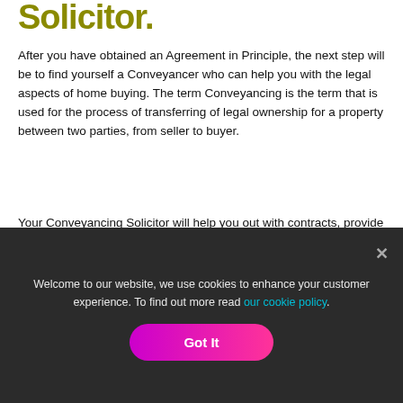Solicitor.
After you have obtained an Agreement in Principle, the next step will be to find yourself a Conveyancer who can help you with the legal aspects of home buying. The term Conveyancing is the term that is used for the process of transferring of legal ownership for a property between two parties, from seller to buyer.
Your Conveyancing Solicitor will help you out with contracts, provide you with any required legal advice, conduct local council or authority searches, deal with Land Registry arrangements and finally, the most important part, the transfer of the funds to pay for the property in question.
(partial text, obscured by cookie banner)
Welcome to our website, we use cookies to enhance your customer experience. To find out more read our cookie policy.
Got It